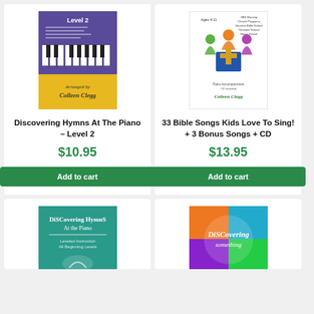[Figure (photo): Book cover for Discovering Hymns At The Piano Level 2 by Colleen Clegg, purple and yellow cover with piano keys]
Discovering Hymns At The Piano – Level 2
$10.95
Add to cart
[Figure (photo): Book cover for 33 Bible Songs Kids Love To Sing! + 3 Bonus Songs + CD by Colleen Clegg, colorful figures around a cross on a blue background]
33 Bible Songs Kids Love To Sing! + 3 Bonus Songs + CD
$13.95
Add to cart
[Figure (photo): Partial book cover for Discovering Hymns At The Piano, teal cover with musical notes]
[Figure (photo): Partial book cover for Discovering something, colorful cover]